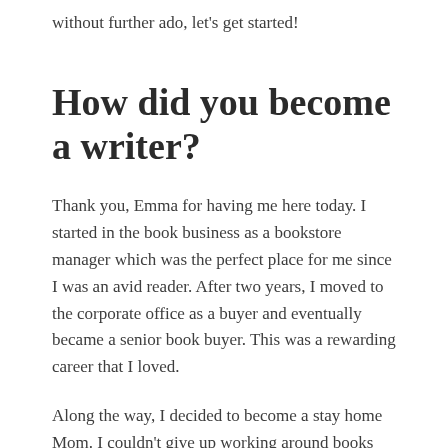without further ado, let's get started!
How did you become a writer?
Thank you, Emma for having me here today. I started in the book business as a bookstore manager which was the perfect place for me since I was an avid reader. After two years, I moved to the corporate office as a buyer and eventually became a senior book buyer. This was a rewarding career that I loved.
Along the way, I decided to become a stay home Mom. I couldn't give up working around books